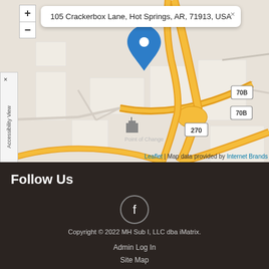[Figure (map): Interactive Leaflet map showing 105 Crackerbox Lane, Hot Springs, AR, 71913, USA with a blue pin marker. Map shows road network including highways 270 and 70B in orange/yellow. Address popup visible at top. Zoom controls (+ and -) on left side. Accessibility View panel on far left.]
105 Crackerbox Lane, Hot Springs, AR, 71913, USA
Leaflet | Map data provided by Internet Brands
Follow Us
Copyright © 2022 MH Sub I, LLC dba iMatrix.
Admin Log In
Site Map